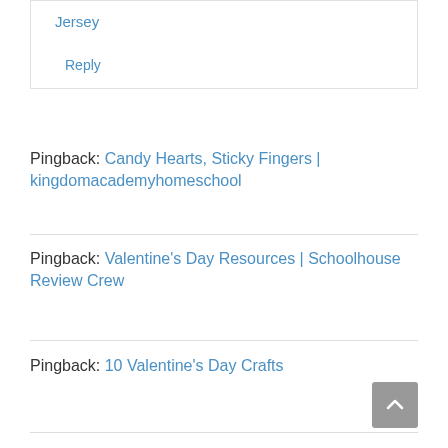Jersey
Reply
Pingback: Candy Hearts, Sticky Fingers | kingdomacademyhomeschool
Pingback: Valentine's Day Resources | Schoolhouse Review Crew
Pingback: 10 Valentine's Day Crafts